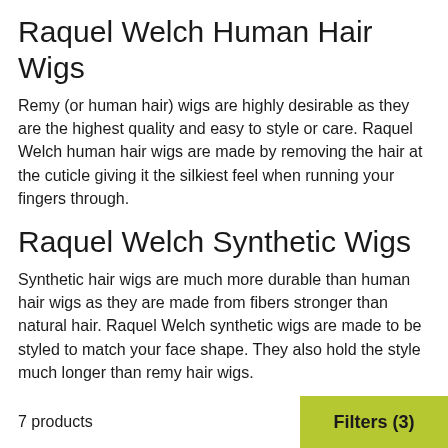Raquel Welch Human Hair Wigs
Remy (or human hair) wigs are highly desirable as they are the highest quality and easy to style or care. Raquel Welch human hair wigs are made by removing the hair at the cuticle giving it the silkiest feel when running your fingers through.
Raquel Welch Synthetic Wigs
Synthetic hair wigs are much more durable than human hair wigs as they are made from fibers stronger than natural hair. Raquel Welch synthetic wigs are made to be styled to match your face shape. They also hold the style much longer than remy hair wigs.
Raquel Welch Toppers
Raquel Welch Toppers are a great choice for those with thinning hair or hair loss. With a wide array of colors to
7 products   Filters (3)